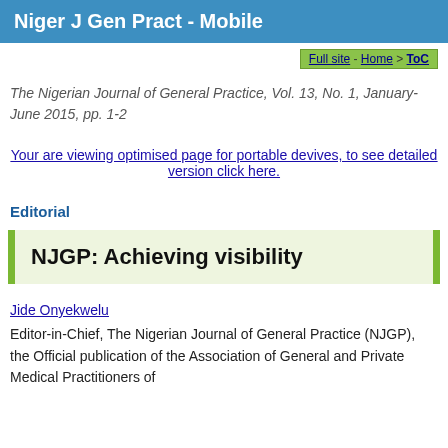Niger J Gen Pract - Mobile
Full site - Home > ToC
The Nigerian Journal of General Practice, Vol. 13, No. 1, January-June 2015, pp. 1-2
Your are viewing optimised page for portable devives, to see detailed version click here.
Editorial
NJGP: Achieving visibility
Jide Onyekwelu
Editor-in-Chief, The Nigerian Journal of General Practice (NJGP), the Official publication of the Association of General and Private Medical Practitioners of